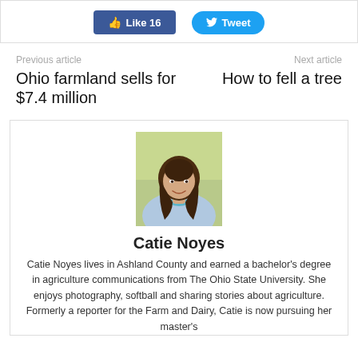[Figure (other): Social sharing buttons: Like 16 (Facebook) and Tweet (Twitter)]
Previous article
Next article
Ohio farmland sells for $7.4 million
How to fell a tree
[Figure (photo): Portrait photo of Catie Noyes, a woman with long brown hair, smiling, wearing a light blue top with a teal necklace, outdoors with a blurred green background]
Catie Noyes
Catie Noyes lives in Ashland County and earned a bachelor's degree in agriculture communications from The Ohio State University. She enjoys photography, softball and sharing stories about agriculture. Formerly a reporter for the Farm and Dairy, Catie is now pursuing her master's